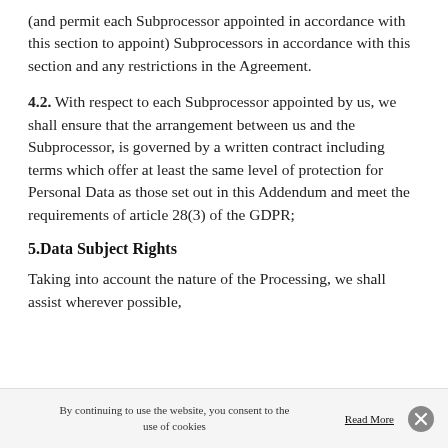(and permit each Subprocessor appointed in accordance with this section to appoint) Subprocessors in accordance with this section and any restrictions in the Agreement.
4.2. With respect to each Subprocessor appointed by us, we shall ensure that the arrangement between us and the Subprocessor, is governed by a written contract including terms which offer at least the same level of protection for Personal Data as those set out in this Addendum and meet the requirements of article 28(3) of the GDPR;
5.Data Subject Rights
Taking into account the nature of the Processing, we shall assist wherever possible,
By continuing to use the website, you consent to the use of cookies   Read More  ✕